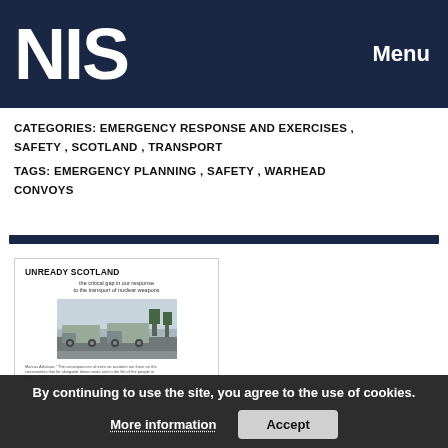NIS  Menu
CATEGORIES: EMERGENCY RESPONSE AND EXERCISES , SAFETY , SCOTLAND , TRANSPORT
TAGS: EMERGENCY PLANNING , SAFETY , WARHEAD CONVOYS
[Figure (illustration): Preview of document titled 'UNREADY SCOTLAND - the critical gap in our response to the transport of nuclear weapons', showing a cover image of military convoy trucks on a road]
By continuing to use the site, you agree to the use of cookies.
More information   Accept